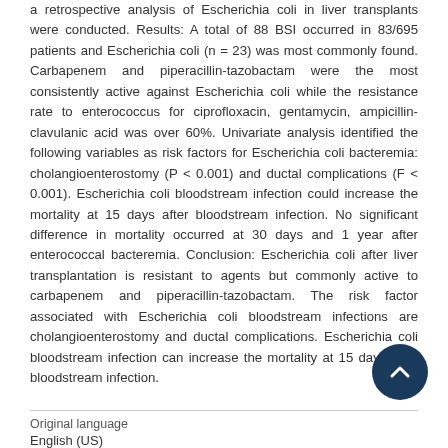a retrospective analysis of Escherichia coli in liver transplants were conducted. Results: A total of 88 BSI occurred in 83/695 patients and Escherichia coli (n = 23) was most commonly found. Carbapenem and piperacillin-tazobactam were the most consistently active against Escherichia coli while the resistance rate to enterococcus for ciprofloxacin, gentamycin, ampicillin-clavulanic acid was over 60%. Univariate analysis identified the following variables as risk factors for Escherichia coli bacteremia: cholangioenterostomy (P < 0.001) and ductal complications (F < 0.001). Escherichia coli bloodstream infection could increase the mortality at 15 days after bloodstream infection. No significant difference in mortality occurred at 30 days and 1 year after enterococcal bacteremia. Conclusion: Escherichia coli after liver transplantation is resistant to agents but commonly active to carbapenem and piperacillin-tazobactam. The risk factor associated with Escherichia coli bloodstream infections are cholangioenterostomy and ductal complications. Escherichia coli bloodstream infection can increase the mortality at 15 days after bloodstream infection.
Original language
English (US)